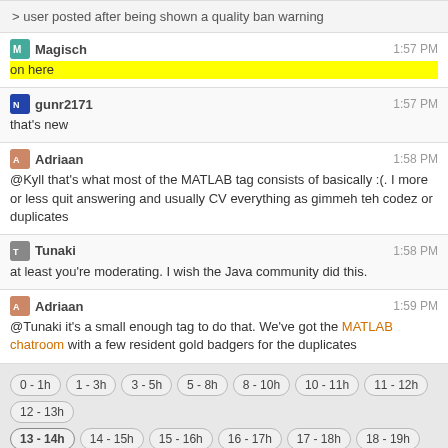> user posted after being shown a quality ban warning
Magisch 1:57 PM
on here
gunr2171 1:57 PM
that's new
Adriaan 1:58 PM
@Kyll that's what most of the MATLAB tag consists of basically :(. I more or less quit answering and usually CV everything as gimmeh teh codez or duplicates
Tunaki 1:58 PM
at least you're moderating. I wish the Java community did this.
Adriaan 1:59 PM
@Tunaki it's a small enough tag to do that. We've got the MATLAB chatroom with a few resident gold badgers for the duplicates
0 - 1h, 1 - 3h, 3 - 5h, 5 - 8h, 8 - 10h, 10 - 11h, 11 - 12h, 12 - 13h, 13 - 14h, 14 - 15h, 15 - 16h, 16 - 17h, 17 - 18h, 18 - 19h, 19 - 20h, 20 - 21h, 21 - 22h, 22 - 0h
← prev day | next day → | last day »
join this room